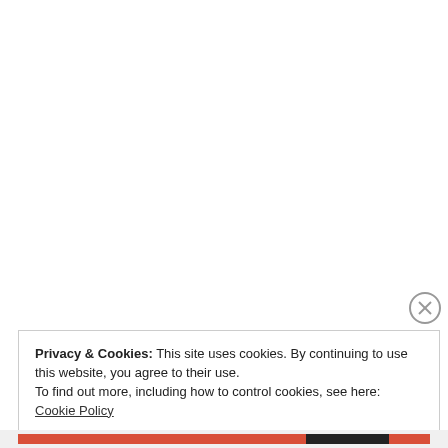http://bodobeers.com/brew/23507
Privacy & Cookies: This site uses cookies. By continuing to use this website, you agree to their use.
To find out more, including how to control cookies, see here: Cookie Policy
Close and accept